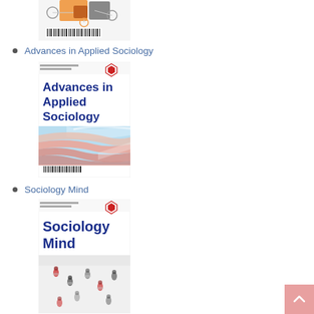[Figure (illustration): Partially visible journal cover at top of page showing a map/network diagram with orange and grey squares, circular elements, and a barcode at the bottom]
Advances in Applied Sociology
[Figure (illustration): Journal cover for 'Advances in Applied Sociology' published by Scientific Research Publishing, showing blue bold title text on white background with colorful ribbon/wave graphic in red, blue, and orange, and a barcode at bottom left]
Sociology Mind
[Figure (illustration): Journal cover for 'Sociology Mind' published by Scientific Research Publishing, showing blue bold title text with a photograph of people walking on a white/snowy surface below]